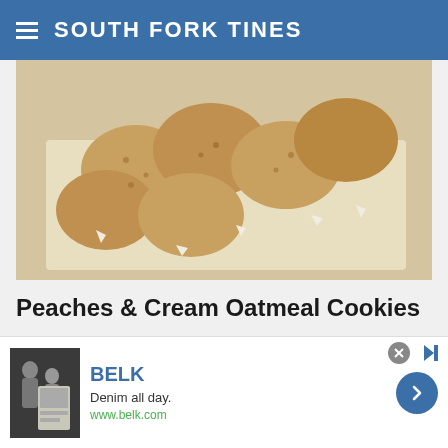SOUTH FORK TINES
[Figure (photo): Overhead photo of oatmeal cookies with white chocolate chips on parchment paper]
Peaches & Cream Oatmeal Cookies
[Figure (photo): Casserole dish of layered dessert with nuts and a lemon slice garnish, likely a banana pudding or lemon dessert, in a glass baking dish]
[Figure (other): Advertisement banner for BELK: 'Denim all day. www.belk.com' with thumbnail images and a chevron navigation button]